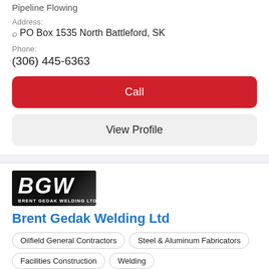Pipeline Flowing
Address:
PO Box 1535 North Battleford, SK
Phone:
(306) 445-6363
Call
View Profile
[Figure (logo): BGW Brent Gedak Welding Ltd. logo — black background with large white italic BGW letters and company name below]
Brent Gedak Welding Ltd
Oilfield General Contractors
Steel & Aluminum Fabricators
Facilities Construction
Welding
Established in 2007, BGW [Brent Gedak Welding Ltd.] is an oilfield welding construction company dedicated to customer